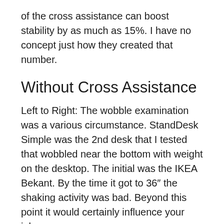of the cross assistance can boost stability by as much as 15%. I have no concept just how they created that number.
Without Cross Assistance
Left to Right: The wobble examination was a various circumstance. StandDesk Simple was the 2nd desk that I tested that wobbled near the bottom with weight on the desktop. The initial was the IKEA Bekant. By the time it got to 36″ the shaking activity was bad. Beyond this point it would certainly influence your job.
With Cross Assistance